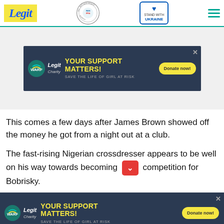Legit | WAN-IFRA 2021 Best News Website in Africa | Stand with Ukraine
[Figure (infographic): Legit Charity ad banner: YOUR SUPPORT MATTERS! SAVE THE LIFE OF GIRL AT RISK. Donate now button.]
This comes a few days after James Brown showed off the money he got from a night out at a club.
The fast-rising Nigerian crossdresser appears to be well on his way towards becoming competition for Bobrisky.
[Figure (infographic): Legit Charity ad banner bottom: YOUR SUPPORT MATTERS! SAVE THE LIFE OF GIRL AT RISK. Donate now button.]